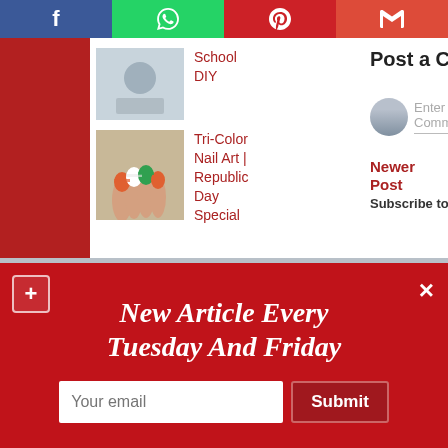[Figure (screenshot): Social share buttons bar: Facebook (blue), WhatsApp (green), Pinterest (red), Gmail (orange-red)]
School DIY
Tri-Color Nail Art | Republic Day Special
Post a Comment
Enter Comment
Newer Post
Subscribe to: Post Comments
New Article Every Tuesday And Friday
Your email
Submit